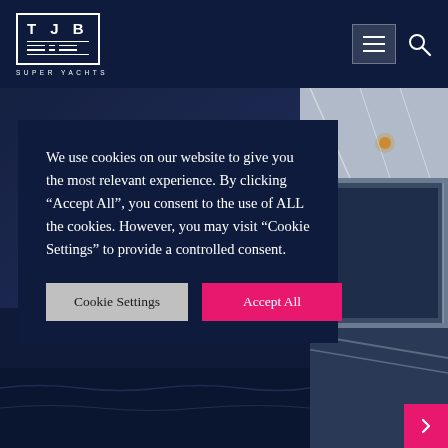[Figure (logo): TJB Super Yachts logo — white box with TJB letters and horizontal lines, SUPER YACHTS subtitle]
[Figure (photo): Background photo of yacht interior/exterior — dark navy and grey tones, showing yacht deck/windows on right side]
We use cookies on our website to give you the most relevant experience. By clicking "Accept All", you consent to the use of ALL the cookies. However, you may visit "Cookie Settings" to provide a controlled consent.
Cookie Settings
Accept All